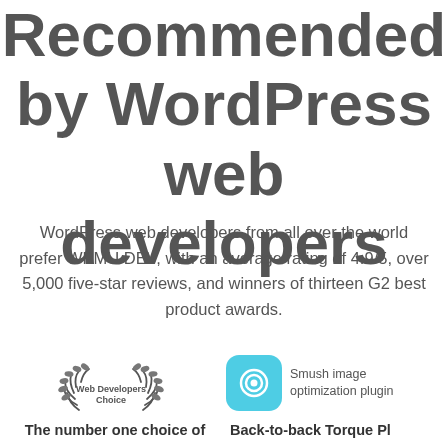Recommended by WordPress web developers
WordPress web developers from all over the world prefer WPMU DEV, with an average rating of 4.9/5, over 5,000 five-star reviews, and winners of thirteen G2 best product awards.
[Figure (logo): Web Developers Choice award badge with laurel wreath]
[Figure (logo): Smush image optimization plugin icon — teal rounded square with concentric circles]
The number one choice of
Back-to-back Torque Pl